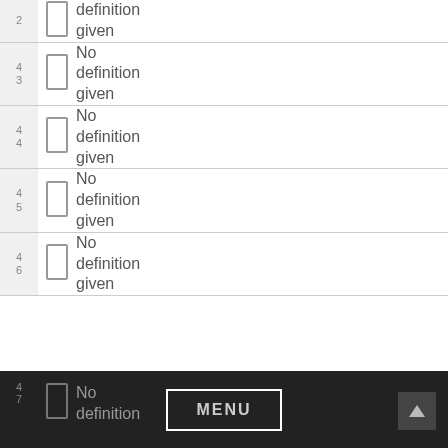| # | Checkbox | Definition |
| --- | --- | --- |
| 2 |  | definition given |
| 43 |  | No definition given |
| 44 |  | No definition given |
| 45 |  | No definition given |
| 46 |  | No definition given |
| 47 |  | No definition |